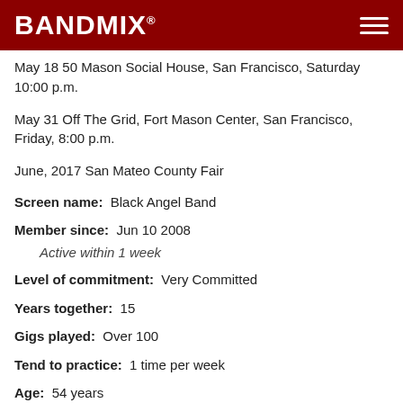BANDMIX®
May 18 50 Mason Social House, San Francisco, Saturday 10:00 p.m.
May 31 Off The Grid, Fort Mason Center, San Francisco, Friday, 8:00 p.m.
June, 2017 San Mateo County Fair
Screen name:  Black Angel Band
Member since:  Jun 10 2008
Active within 1 week
Level of commitment:  Very Committed
Years together:  15
Gigs played:  Over 100
Tend to practice:  1 time per week
Age:  54 years